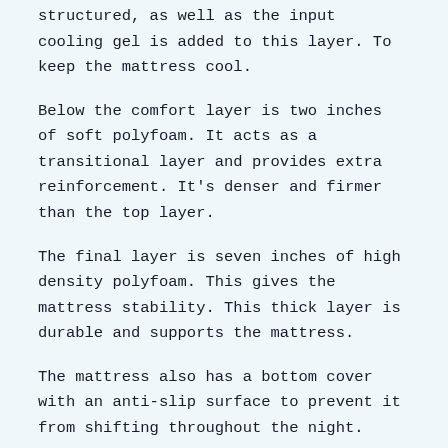structured, as well as the input cooling gel is added to this layer to keep the mattress cool.
Below the comfort layer is two inches of soft polyfoam. It acts as a transitional layer and provides extra reinforcement. It's denser and firmer than the top layer.
The final layer is seven inches of high density polyfoam. This gives the mattress stability. This thick layer is durable and supports the mattress.
The mattress also has a bottom cover with an anti-slip surface to prevent it from shifting throughout the night.
For a soft feel, the entire mattress is covered in a cover made from polyester, nylon, or polyethylene. It's constructed with a circular knit to give it a more comfortable feel. The cover is made of polyethylene, which is highly breathable and keeps the mattress' surface cool.